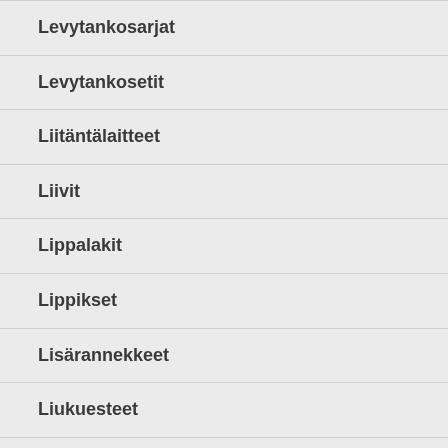Levytankosarjat
Levytankosetit
Liitäntälaitteet
Liivit
Lippalakit
Lippikset
Lisärannekkeet
Liukuesteet
Liukurit